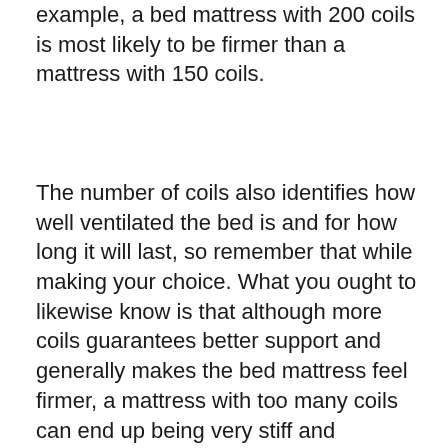example, a bed mattress with 200 coils is most likely to be firmer than a mattress with 150 coils.
The number of coils also identifies how well ventilated the bed is and for how long it will last, so remember that while making your choice. What you ought to likewise know is that although more coils guarantees better support and generally makes the bed mattress feel firmer, a mattress with too many coils can end up being very stiff and uncomfortable to lie down on.